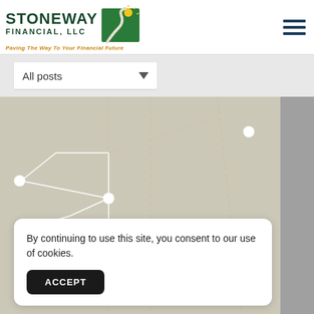[Figure (logo): Stoneway Financial LLC logo with green path/sun icon and tagline 'Paving The Way To Your Financial Future']
All posts
[Figure (map): A beige/tan road map showing dotted route paths and white circle markers on intersections]
By continuing to use this site, you consent to our use of cookies.
ACCEPT